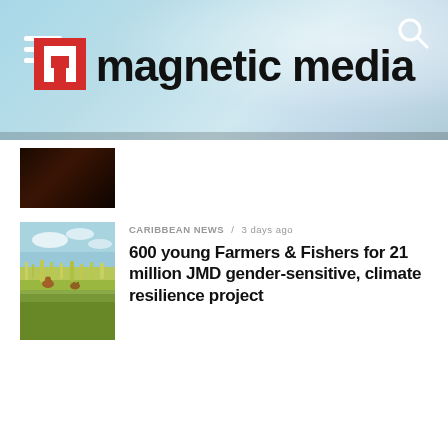magnetic media
[Figure (photo): Dark interior photo, partially visible at top left below header]
[Figure (photo): Savanna landscape with wildlife (deer/antelope) in tall yellow-green grass under blue sky]
CARIBBEAN NEWS / 3 days ago
600 young Farmers & Fishers for 21 million JMD gender-sensitive, climate resilience project